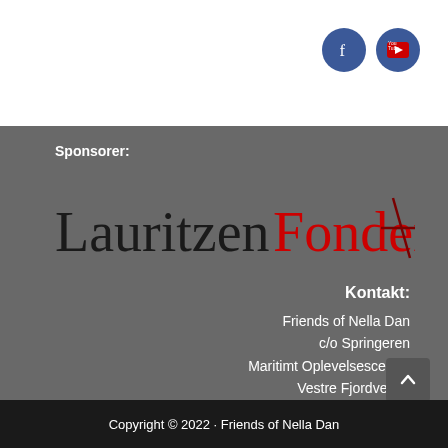[Figure (logo): Facebook and YouTube social media icon buttons (blue circles)]
Sponsorer:
[Figure (logo): LauritzenFonden logo — black and red text with a plus symbol]
Kontakt:
Friends of Nella Dan
c/o Springeren
Maritimt Oplevelsescenter
Vestre Fjordvej 81
9000 Aalborg
Copyright © 2022 · Friends of Nella Dan